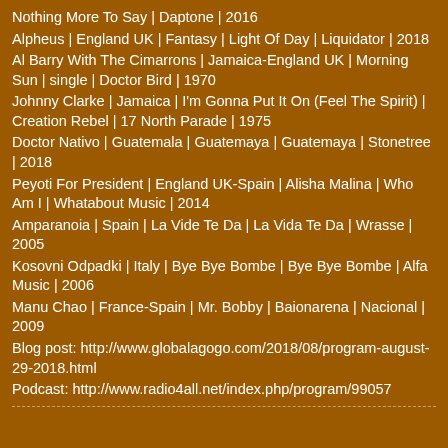Nothing More To Say | Daptone | 2016
Alpheus | England UK | Fantasy | Light Of Day | Liquidator | 2018
Al Barry With The Cimarrons | Jamaica-England UK | Morning Sun | single | Doctor Bird | 1970
Johnny Clarke | Jamaica | I'm Gonna Put It On (Feel The Spirit) | Creation Rebel | 17 North Parade | 1975
Doctor Nativo | Guatemala | Guatemaya | Guatemaya | Stonetree | 2018
Peyoti For President | England UK-Spain | Alisha Malina | Who Am I | Whatabout Music | 2014
Amparanoia | Spain | La Vide Te Da | La Vida Te Da | Wrasse | 2005
Kosovni Odpadki | Italy | Bye Bye Bombe | Bye Bye Bombe | Alfa Music | 2006
Manu Chao | France-Spain | Mr. Bobby | Baionarena | Nacional | 2009
Blog post: http://www.globalagogo.com/2018/08/program-august-29-2018.html
Podcast: http://www.radio4all.net/index.php/program/99057